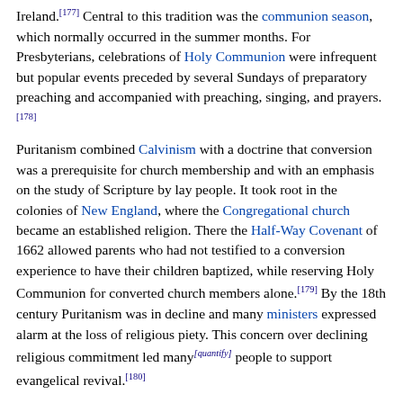Ireland.[177] Central to this tradition was the communion season, which normally occurred in the summer months. For Presbyterians, celebrations of Holy Communion were infrequent but popular events preceded by several Sundays of preparatory preaching and accompanied with preaching, singing, and prayers.[178]
Puritanism combined Calvinism with a doctrine that conversion was a prerequisite for church membership and with an emphasis on the study of Scripture by lay people. It took root in the colonies of New England, where the Congregational church became an established religion. There the Half-Way Covenant of 1662 allowed parents who had not testified to a conversion experience to have their children baptized, while reserving Holy Communion for converted church members alone.[179] By the 18th century Puritanism was in decline and many ministers expressed alarm at the loss of religious piety. This concern over declining religious commitment led many[quantify] people to support evangelical revival.[180]
High-Church Anglicanism also exerted influence on early Evangelicalism. High Churchmen were distinguished by their desire to adhere to primitive Christianity. This desire included imitating the faith and ascetic practices of early Christians as well as regularly partaking of Holy Communion. High Churchmen were also characterized by their refusal to recognize association. To...